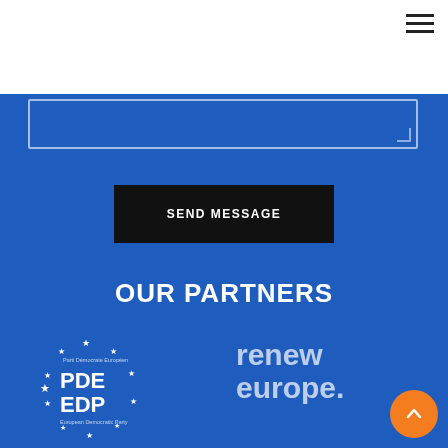[Figure (other): Hamburger/menu icon with three horizontal lines in top-right corner on white background]
[Figure (other): Text area input box with white border on blue background, with resize handle in bottom-right corner]
SEND MESSAGE
OUR PARTNERS
[Figure (logo): PDE EDP European Democratic Party logo: circular arrangement of stars around the text PDE EDP with small text above and below on blue background]
[Figure (logo): Renew Europe logo: text 'renew europe.' in light grey/white on blue background]
[Figure (other): Orange circular scroll-to-top button with upward chevron arrow in bottom-right corner]